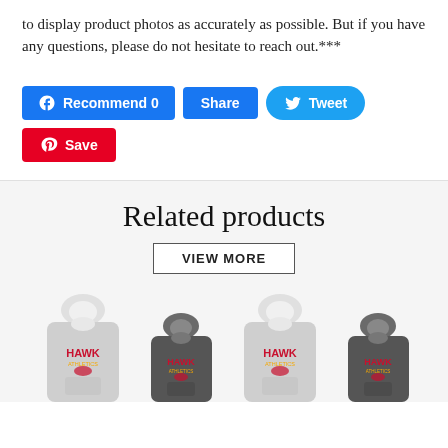to display product photos as accurately as possible. But if you have any questions, please do not hesitate to reach out.***
[Figure (screenshot): Social sharing buttons: Facebook Recommend 0, Share, Twitter Tweet, Pinterest Save]
Related products
VIEW MORE
[Figure (photo): Four hooded sweatshirts with Hawk athletic logo: two light gray hoodies and two dark gray hoodies]